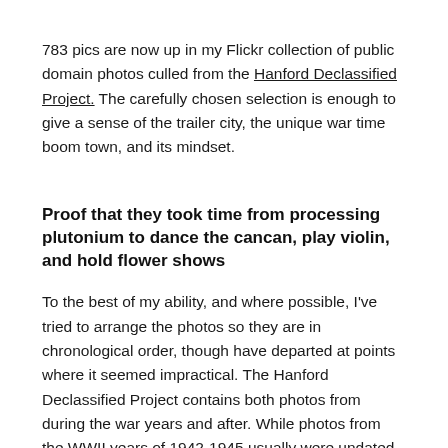783 pics are now up in my Flickr collection of public domain photos culled from the Hanford Declassified Project. The carefully chosen selection is enough to give a sense of the trailer city, the unique war time boom town, and its mindset.
Proof that they took time from processing plutonium to dance the cancan, play violin, and hold flower shows
To the best of my ability, and where possible, I've tried to arrange the photos so they are in chronological order, though have departed at points where it seemed impractical. The Hanford Declassified Project contains both photos from during the war years and after. While photos from the WWII years of 1942-1945 usually were undated in the archive, they are distinguishable from